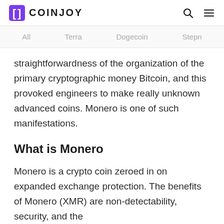COINJOY
All   Terra   Dogecoin   Stepn
straightforwardness of the organization of the primary cryptographic money Bitcoin, and this provoked engineers to make really unknown advanced coins. Monero is one of such manifestations.
What is Monero
Monero is a crypto coin zeroed in on expanded exchange protection. The benefits of Monero (XMR) are non-detectability, security, and the